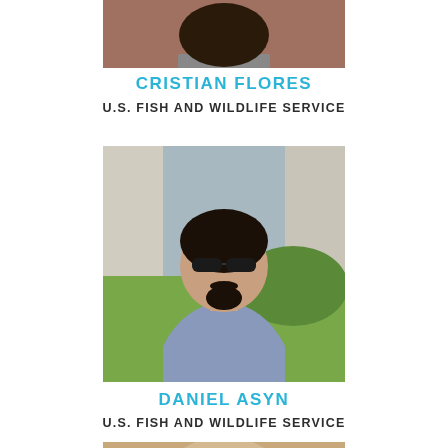[Figure (photo): Partial photo of Cristian Flores, cropped at top, showing person from shoulders/neck up against a brick wall background.]
CRISTIAN FLORES
U.S. FISH AND WILDLIFE SERVICE
[Figure (photo): Photo of Daniel Asyn outdoors in a natural setting with trees and greenery, wearing sunglasses and a light blue shirt.]
DANIEL ASYN
U.S. FISH AND WILDLIFE SERVICE
[Figure (photo): Partial photo at bottom of page, showing top of a person's head with blonde/light brown hair, cropped.]